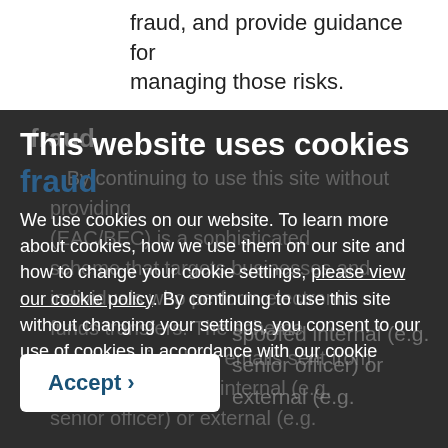fraud, and provide guidance for managing those risks.
[Figure (screenshot): Cookie consent banner overlay on a dark background web page. The banner contains the heading 'This website uses cookies', subtext in dark blue 'fraud', body text about cookie usage with a link 'please view our cookie policy', and an Accept button with a chevron arrow. Behind the overlay, partially visible dark page content about email fraud schemes targeting businesses is visible.]